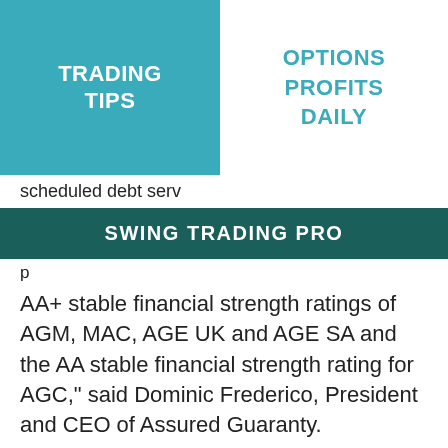TRADING TIPS
OPTIONS PROFITS DAILY
scheduled debt serv
SWING TRADING PRO
p
AA+ stable financial strength ratings of AGM, MAC, AGE UK and AGE SA and the AA stable financial strength rating for AGC," said Dominic Frederico, President and CEO of Assured Guaranty.
“KBRA’s view that the COVID-19 pandemic is primarily a potential liquidity event for Assured Guaranty implies that related claims, if any, will be reimbursed by the obligors.”